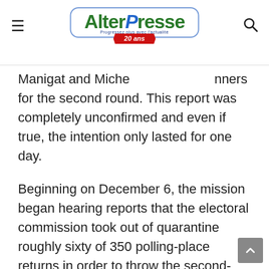AlterPresse logo with 20 ans ribbon
Manigat and Miche[l] [Martelly as front-r]unners for the second round. This report was completely unconfirmed and even if true, the intention only lasted for one day.
Beginning on December 6, the mission began hearing reports that the electoral commission took out of quarantine roughly sixty of 350 polling-place returns in order to throw the second-place berth to the ruling-party candidate. These reports of de-quarantining remain unconfirmed to this date.
What the mission has been able to confirm beyond a